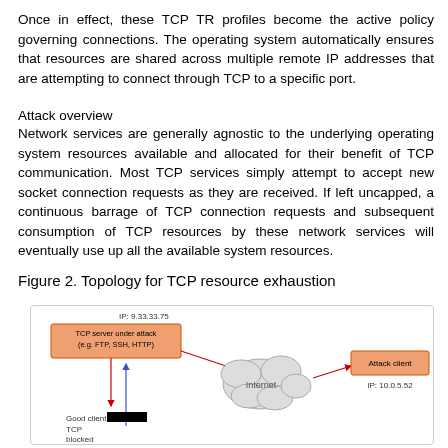Once in effect, these TCP TR profiles become the active policy governing connections. The operating system automatically ensures that resources are shared across multiple remote IP addresses that are attempting to connect through TCP to a specific port.
Attack overview
Network services are generally agnostic to the underlying operating system resources available and allocated for their benefit of TCP communication. Most TCP services simply attempt to accept new socket connection requests as they are received. If left uncapped, a continuous barrage of TCP connection requests and subsequent consumption of TCP resources by these network services will eventually use up all the available system resources.
Figure 2. Topology for TCP resource exhaustion
[Figure (network-graph): Network topology diagram showing a TCP server under attack (IP: 9.33.33.75) with an orange box labeled 'TCP server under attack (e.g. FTP, SSH, HTTP)', connected via the Internet (cloud shape) to an Attack client (IP: 10.0.5.52) shown in an orange box. A Good client TCP blocked label appears at the bottom left with a blue arrow pointing up and a red arrow from the server.]